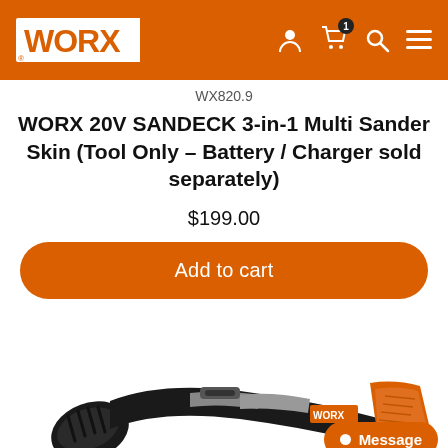WORX logo and navigation header
WX820.9
WORX 20V SANDECK 3-in-1 Multi Sander Skin (Tool Only – Battery / Charger sold separately)
$199.00
Add to cart
[Figure (photo): Photo of WORX 20V SANDECK 3-in-1 Multi Sander tool, showing handle and body of the sander against a white background]
Message